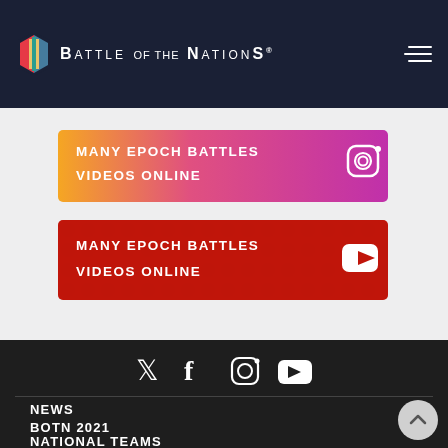Battle of the Nations
[Figure (screenshot): Instagram card with text MANY EPOCH BATTLES VIDEOS ONLINE and Instagram icon]
[Figure (screenshot): YouTube card with text MANY EPOCH BATTLES VIDEOS ONLINE and YouTube play button icon]
[Figure (infographic): Social media icons: Twitter, Facebook, Instagram, YouTube]
NEWS
BOTN 2021
NATIONAL TEAMS